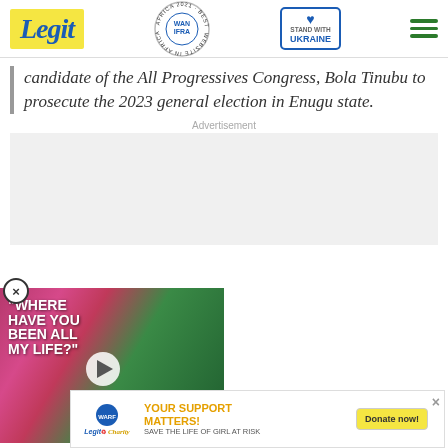Legit — WAN IFRA 2021 Best News Website in Africa — Stand with Ukraine
candidate of the All Progressives Congress, Bola Tinubu to prosecute the 2023 general election in Enugu state.
Advertisement
[Figure (photo): Video popup showing celebrities with text "WHERE HAVE YOU BEEN ALL MY LIFE?" and a play button]
[Figure (infographic): Legit Charity banner: YOUR SUPPORT MATTERS! SAVE THE LIFE OF GIRL AT RISK, with Donate now! button]